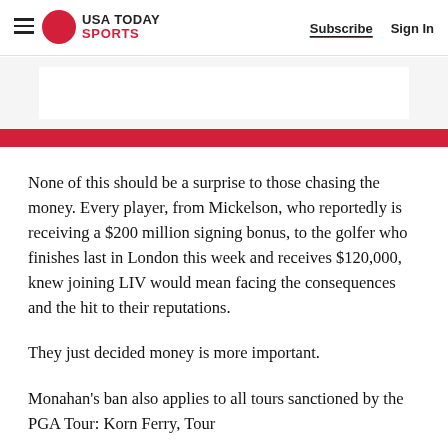USA TODAY SPORTS | Subscribe | Sign In
[Figure (other): Advertisement banner with red side borders and red stripe at bottom]
None of this should be a surprise to those chasing the money. Every player, from Mickelson, who reportedly is receiving a $200 million signing bonus, to the golfer who finishes last in London this week and receives $120,000, knew joining LIV would mean facing the consequences and the hit to their reputations.
They just decided money is more important.
Monahan's ban also applies to all tours sanctioned by the PGA Tour: Korn Ferry, Tour